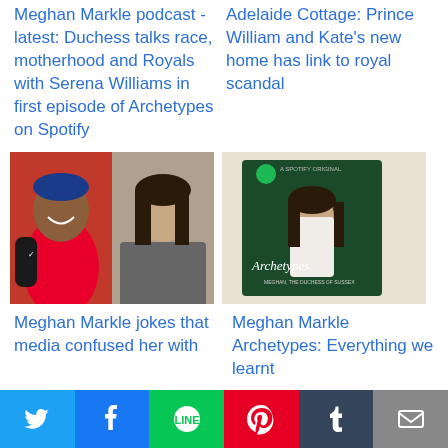Meghan Markle podcast - latest: Duchess talks race, motherhood and Royals with Serena Williams in first episode of Archetypes on Spotify
Adelaide Cottage: Prince William and Kate's new home has link to royal scandal
[Figure (photo): Photo of Serena Williams and Meghan Markle side by side]
[Figure (photo): Archetypes Spotify Original podcast cover featuring Meghan Markle]
Meghan Markle jokes that media confused her with
Meghan Markle Archetypes: Everything we learnt